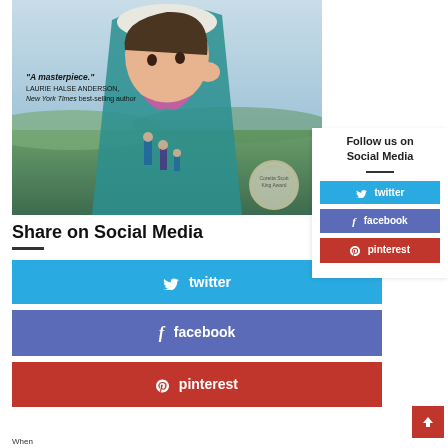[Figure (illustration): Book cover illustration showing a young Asian girl in a teal hoodie with white hat, wind in hair, with landscape scene reflected or overlaid. Text on cover reads: 'A masterpiece.' LAURIE HALSE ANDERSON, New York Times best-selling author. Award medallion visible in bottom right corner.]
Follow us on Social Media
twitter
facebook
pinterest
Share on Social Media
twitter
facebook
pinterest
When